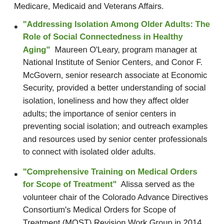Medicare, Medicaid and Veterans Affairs.
“Addressing Isolation Among Older Adults: The Role of Social Connectedness in Healthy Aging”  Maureen O’Leary, program manager at National Institute of Senior Centers, and Conor F. McGovern, senior research associate at Economic Security, provided a better understanding of social isolation, loneliness and how they affect older adults; the importance of senior centers in preventing social isolation; and outreach examples and resources used by senior center professionals to connect with isolated older adults.
“Comprehensive Training on Medical Orders for Scope of Treatment”  Alissa served as the volunteer chair of the Colorado Advance Directives Consortium’s Medical Orders for Scope of Treatment (MOST) Revision Work Group in 2014, facilitating the MOST form’s first revision. After the